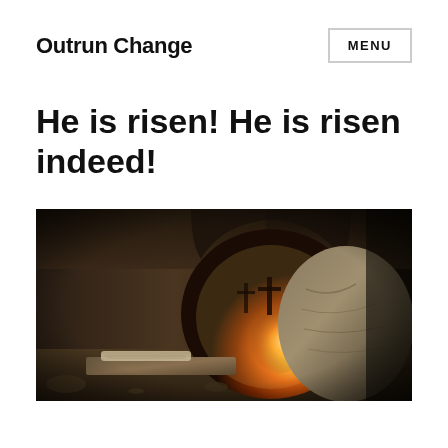Outrun Change
He is risen! He is risen indeed!
[Figure (photo): Photo of an empty tomb with a large stone rolled away, sunrise light shining through the opening with three crosses silhouetted in the background, and folded burial cloths on a stone slab in the foreground.]